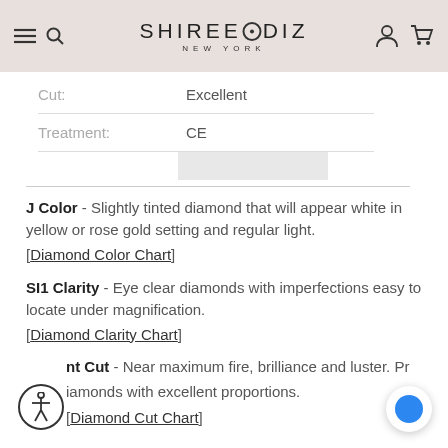SHIREE·DIZ NEW YORK
| Cut: | Excellent |
| Treatment: | CE |
J Color - Slightly tinted diamond that will appear white in yellow or rose gold setting and regular light. [Diamond Color Chart]
SI1 Clarity - Eye clear diamonds with imperfections easy to locate under magnification. [Diamond Clarity Chart]
Excellent Cut - Near maximum fire, brilliance and luster. Produced from diamonds with excellent proportions. [Diamond Cut Chart]